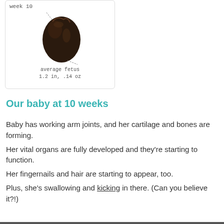[Figure (illustration): A prune/date fruit used to represent the size of a fetus at week 10, with dashed lines pointing to 'week 10' label at top and 'average fetus 1.2 in, .14 oz' label at bottom]
Our baby at 10 weeks
Baby has working arm joints, and her cartilage and bones are forming.
Her vital organs are fully developed and they're starting to function.
Her fingernails and hair are starting to appear, too.
Plus, she's swallowing and kicking in there. (Can you believe it?!)